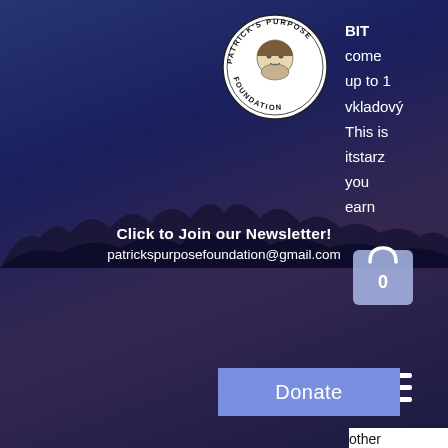[Figure (photo): Patrick's Purpose Foundation logo — circular badge with face illustration in center, text around border reading PATRICK'S PURPOSE FOUNDATION]
BIT
come
up to 1
vkladový
This is
itstarz
you
earn
[Figure (other): Shopping cart icon with 0 badge, light blue color]
[Figure (other): Hamburger menu icon — three white horizontal lines]
[Figure (photo): Background photo of group of people gathered outdoors at dusk/night with candles, dark blue/purple sky]
Donate
Click to Join our Newsletter!
patrickspurposefoundation@gmail.com
other
ers
aimed
full of
adventurous titles, phenomenal support and fast processing times, bitstarz žádný vkladový bonus 20 gratissnurr. CryptoWild was established in 2017 under the Dama N. This means you can boast about your big wins, or simply take strategy advice from others. Anonymity is big with crypto dice as well, bitstarz žádný vkladový bonus 2021.